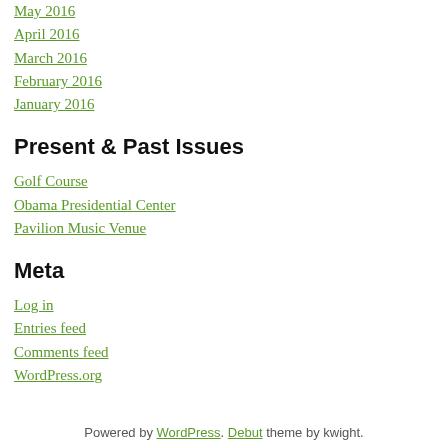May 2016
April 2016
March 2016
February 2016
January 2016
Present & Past Issues
Golf Course
Obama Presidential Center
Pavilion Music Venue
Meta
Log in
Entries feed
Comments feed
WordPress.org
Powered by WordPress. Debut theme by kwight.